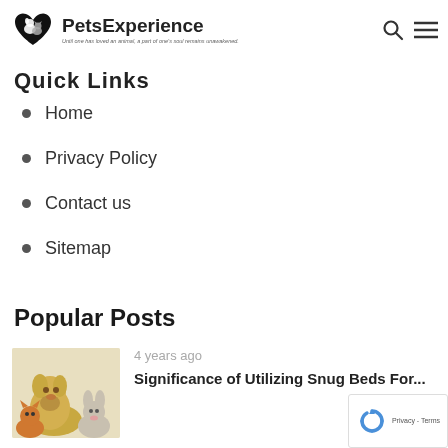PetsExperience — Until one has loved an animal, a part of one's soul remains unawakened.
Quick Links
Home
Privacy Policy
Contact us
Sitemap
Popular Posts
4 years ago
Significance of Utilizing Snug Beds For...